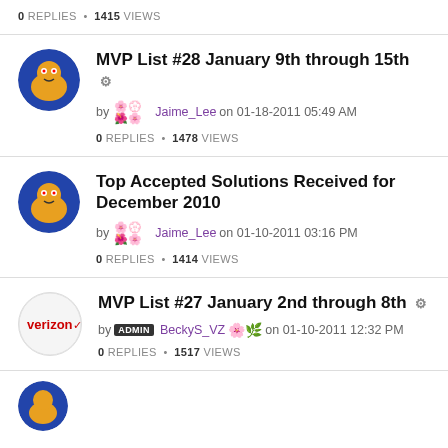0 REPLIES • 1415 VIEWS
MVP List #28 January 9th through 15th
by Jaime_Lee on 01-18-2011 05:49 AM
0 REPLIES • 1478 VIEWS
Top Accepted Solutions Received for December 2010
by Jaime_Lee on 01-10-2011 03:16 PM
0 REPLIES • 1414 VIEWS
MVP List #27 January 2nd through 8th
by ADMIN BeckyS_VZ on 01-10-2011 12:32 PM
0 REPLIES • 1517 VIEWS